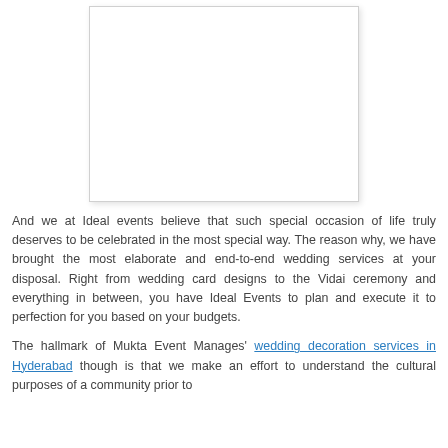[Figure (photo): White rectangular image placeholder with light shadow border]
And we at Ideal events believe that such special occasion of life truly deserves to be celebrated in the most special way. The reason why, we have brought the most elaborate and end-to-end wedding services at your disposal. Right from wedding card designs to the Vidai ceremony and everything in between, you have Ideal Events to plan and execute it to perfection for you based on your budgets.
The hallmark of Mukta Event Manages' wedding decoration services in Hyderabad though is that we make an effort to understand the cultural purposes of a community prior to